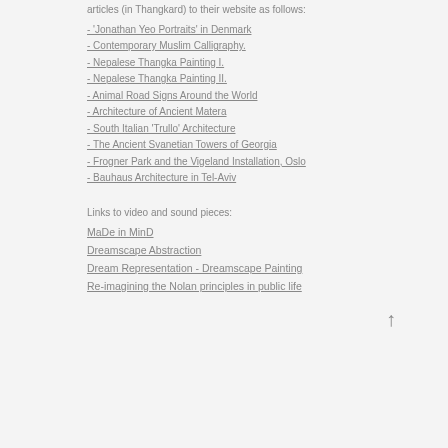articles (in Thangkard) to their website as follows:
- 'Jonathan Yeo Portraits' in Denmark
- Contemporary Muslim Calligraphy.
- Nepalese Thangka Painting I.
- Nepalese Thangka Painting II.
- Animal Road Signs Around the World
- Architecture of Ancient Matera
- South Italian 'Trullo' Architecture
- The Ancient Svanetian Towers of Georgia
- Frogner Park and the Vigeland Installation, Oslo
- Bauhaus Architecture in Tel-Aviv
Links to video and sound pieces:
MaDe in MinD
Dreamscape Abstraction
Dream Representation - Dreamscape Painting
Re-imagining the Nolan principles in public life